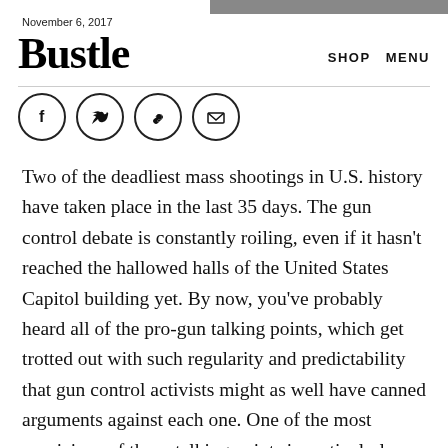November 6, 2017
Bustle
SHOP   MENU
[Figure (other): Social share icons: Facebook, Twitter, link/chain, email — each in a circle]
Two of the deadliest mass shootings in U.S. history have taken place in the last 35 days. The gun control debate is constantly roiling, even if it hasn't reached the hallowed halls of the United States Capitol building yet. By now, you've probably heard all of the pro-gun talking points, which get trotted out with such regularity and predictability that gun control activists might as well have canned arguments against each one. One of the most pernicious of those talking points is particularly lasting and dangerous — and you should know how to argue against the "good guy